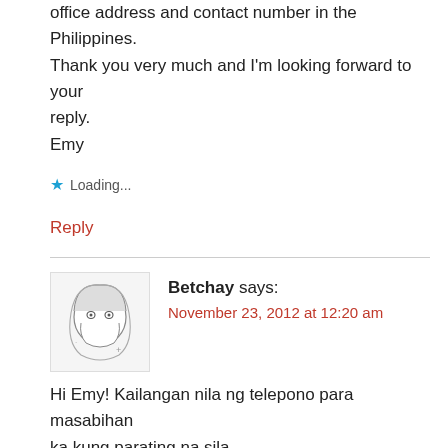office address and contact number in the Philippines. Thank you very much and I'm looking forward to your reply.
Emy
Loading...
Reply
Betchay says:
November 23, 2012 at 12:20 am
Hi Emy! Kailangan nila ng telepono para masabihan ka kung parating na sila.
Loading...